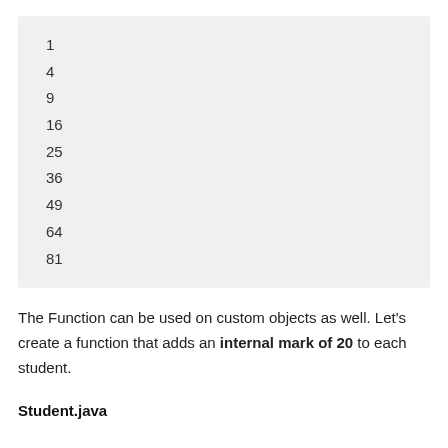[Figure (screenshot): Code output block showing squares of numbers 1 through 9: 1, 4, 9, 16, 25, 36, 49, 64, 81]
The Function can be used on custom objects as well. Let’s create a function that adds an internal mark of 20 to each student.
Student.java